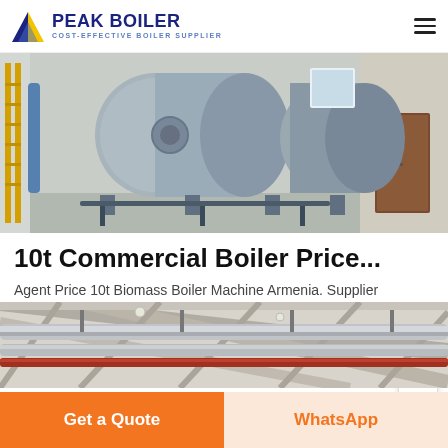PEAK BOILER – COST-EFFECTIVE BOILER SUPPLIER
[Figure (photo): Industrial boiler room with two large horizontal cylindrical boilers on stands, blue and yellow pipes visible on left wall, concrete floor, inside a white industrial building]
10t Commercial Boiler Price...
Agent Price 10t Biomass Boiler Machine Armenia. Supplier Industrial 2t Natural Gas fired boiler Armenia. Supplier 2t steam Commercial Philippines Alibaba Steam Supplier 30t/h jual good
[Figure (photo): Interior of an industrial building showing ceiling with steel beams and insulated pipes (silver and red/copper colored) running along the ceiling]